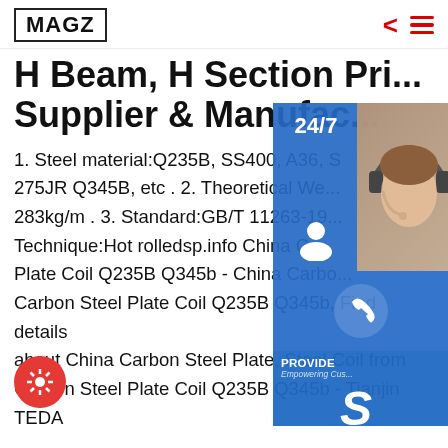MAGZ
H Beam, H Section Price, Supplier & Manufacturer
1. Steel material:Q235B, SS400, A36, S275JR Q345B, etc . 2. Theoretical Weight: 283kg/m . 3. Standard:GB/T 11263-19... Technique:Hot rolledsp.info China Carbon Steel Plate Coil Q235B Q345b - China Carbon Steel Plate Coil Q235B Q345b, Find details about China Carbon Steel Plate, Steel Coil from Carbon Steel Plate Coil Q235B Q345b - Tianjin TEDA Coqua Trade Co., Ltd.sp.info Angle Steel with Material:GB Q235B, Q345B real-time Buy Angle Steel with Material:GB Q235B, Q345B Find Details